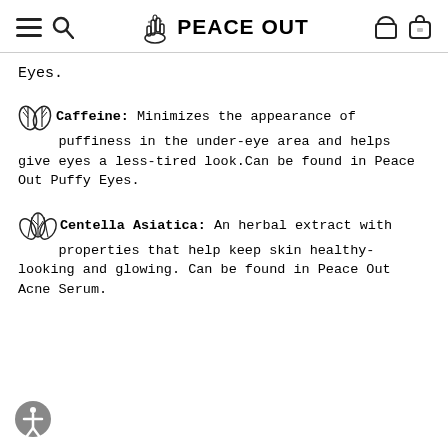PEACE OUT
Eyes.
Caffeine: Minimizes the appearance of puffiness in the under-eye area and helps give eyes a less-tired look.Can be found in Peace Out Puffy Eyes.
Centella Asiatica: An herbal extract with properties that help keep skin healthy-looking and glowing. Can be found in Peace Out Acne Serum.